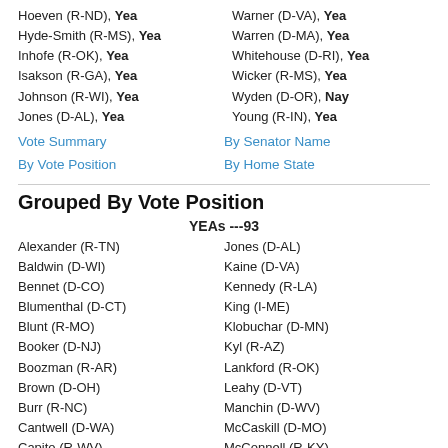Hoeven (R-ND), Yea
Hyde-Smith (R-MS), Yea
Inhofe (R-OK), Yea
Isakson (R-GA), Yea
Johnson (R-WI), Yea
Jones (D-AL), Yea
Warner (D-VA), Yea
Warren (D-MA), Yea
Whitehouse (D-RI), Yea
Wicker (R-MS), Yea
Wyden (D-OR), Nay
Young (R-IN), Yea
Vote Summary | By Vote Position | By Senator Name | By Home State
Grouped By Vote Position
YEAs ---93
Alexander (R-TN)
Baldwin (D-WI)
Bennet (D-CO)
Blumenthal (D-CT)
Blunt (R-MO)
Booker (D-NJ)
Boozman (R-AR)
Brown (D-OH)
Burr (R-NC)
Cantwell (D-WA)
Capito (R-WV)
Jones (D-AL)
Kaine (D-VA)
Kennedy (R-LA)
King (I-ME)
Klobuchar (D-MN)
Kyl (R-AZ)
Lankford (R-OK)
Leahy (D-VT)
Manchin (D-WV)
McCaskill (D-MO)
McConnell (R-KY)